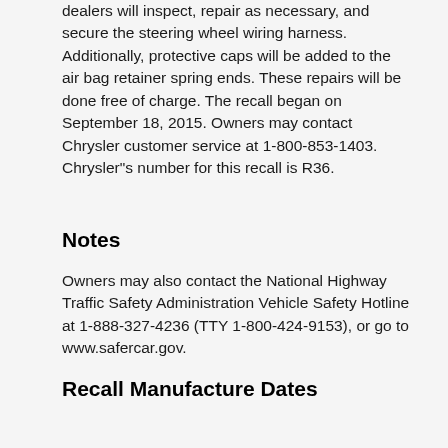dealers will inspect, repair as necessary, and secure the steering wheel wiring harness. Additionally, protective caps will be added to the air bag retainer spring ends. These repairs will be done free of charge. The recall began on September 18, 2015. Owners may contact Chrysler customer service at 1-800-853-1403. Chrysler"s number for this recall is R36.
Notes
Owners may also contact the National Highway Traffic Safety Administration Vehicle Safety Hotline at 1-888-327-4236 (TTY 1-800-424-9153), or go to www.safercar.gov.
Recall Manufacture Dates